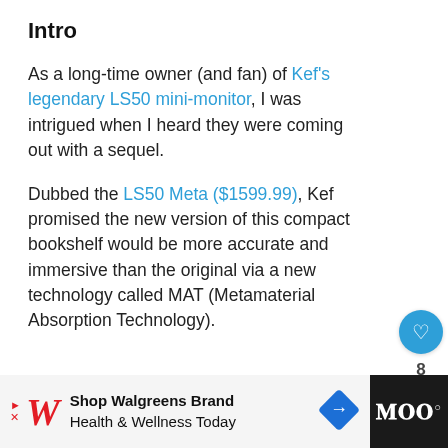Intro
As a long-time owner (and fan) of Kef’s legendary LS50 mini-monitor, I was intrigued when I heard they were coming out with a sequel.
Dubbed the LS50 Meta ($1599.99), Kef promised the new version of this compact bookshelf would be more accurate and immersive than the original via a new technology called MAT (Metamaterial Absorption Technology).
ADVERTISEMENT
WHAT’S NEXT →
Polk Monitor XT20 Revie...
[Figure (screenshot): Walgreens advertisement banner: Shop Walgreens Brand Health & Wellness Today]
[Figure (logo): Wired logo on dark background]